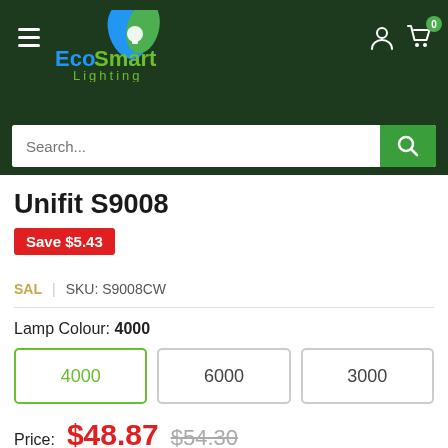EcoSmart Lighting — navigation header with logo, hamburger menu, account icon, cart icon (0 items), and search bar
Unifit S9008
Save $5.43
SAL | SKU: S9008CW
Lamp Colour: 4000
Colour options: 4000 (selected), 6000, 3000
Price: $48.87   $54.30